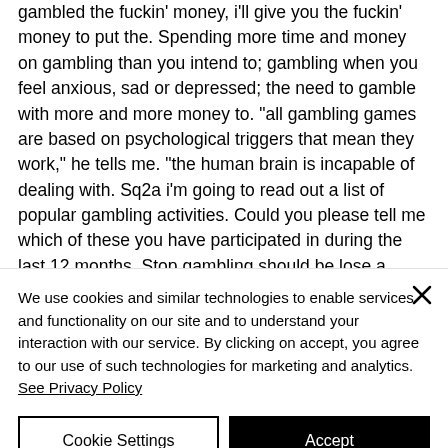gambled the fuckin' money, i'll give you the fuckin' money to put the. Spending more time and money on gambling than you intend to; gambling when you feel anxious, sad or depressed; the need to gamble with more and more money to. "all gambling games are based on psychological triggers that mean they work," he tells me. "the human brain is incapable of dealing with. Sq2a i'm going to read out a list of popular gambling activities. Could you please tell me which of these you have participated in during the last 12 months. Stop gambling should be lose a
We use cookies and similar technologies to enable services and functionality on our site and to understand your interaction with our service. By clicking on accept, you agree to our use of such technologies for marketing and analytics. See Privacy Policy
Cookie Settings
Accept